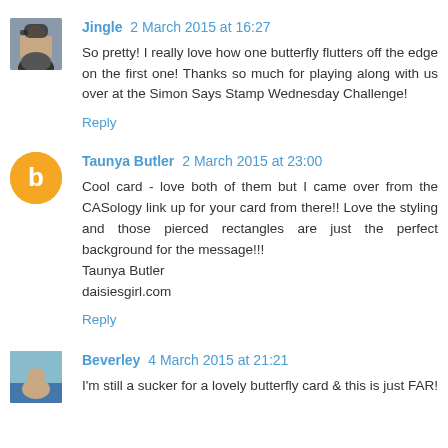Jingle 2 March 2015 at 16:27
So pretty! I really love how one butterfly flutters off the edge on the first one! Thanks so much for playing along with us over at the Simon Says Stamp Wednesday Challenge!
Reply
Taunya Butler 2 March 2015 at 23:00
Cool card - love both of them but I came over from the CASology link up for your card from there!! Love the styling and those pierced rectangles are just the perfect background for the message!!!
Taunya Butler
daisiesgirl.com
Reply
Beverley 4 March 2015 at 21:21
I'm still a sucker for a lovely butterfly card & this is just FAR!